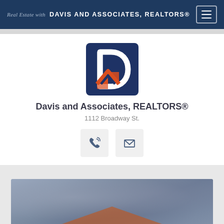Real Estate with DAVIS AND ASSOCIATES, REALTORS®
[Figure (logo): Davis and Associates REALTORS logo: dark navy square with white D letter and orange house/roof icon]
Davis and Associates, REALTORS®
1112 Broadway St.
[Figure (infographic): Two contact buttons: phone icon and envelope/email icon on light gray square backgrounds]
[Figure (photo): Partial photo at bottom of page showing a house, blueish-gray background with roof visible at bottom edge]